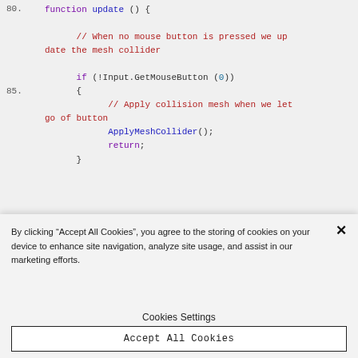[Figure (screenshot): Code editor screenshot showing JavaScript/Unity code with line numbers 80 and 85. Code includes: function update(){}, a comment about mouse button, if(!Input.GetMouseButton(0)) block, ApplyMeshCollider(); and return; statements.]
By clicking “Accept All Cookies”, you agree to the storing of cookies on your device to enhance site navigation, analyze site usage, and assist in our marketing efforts.
Cookies Settings
Accept All Cookies